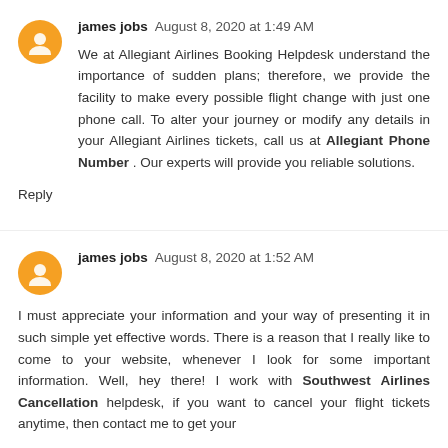james jobs  August 8, 2020 at 1:49 AM
We at Allegiant Airlines Booking Helpdesk understand the importance of sudden plans; therefore, we provide the facility to make every possible flight change with just one phone call. To alter your journey or modify any details in your Allegiant Airlines tickets, call us at Allegiant Phone Number . Our experts will provide you reliable solutions.
Reply
james jobs  August 8, 2020 at 1:52 AM
I must appreciate your information and your way of presenting it in such simple yet effective words. There is a reason that I really like to come to your website, whenever I look for some important information. Well, hey there! I work with Southwest Airlines Cancellation helpdesk, if you want to cancel your flight tickets anytime, then contact me to get your